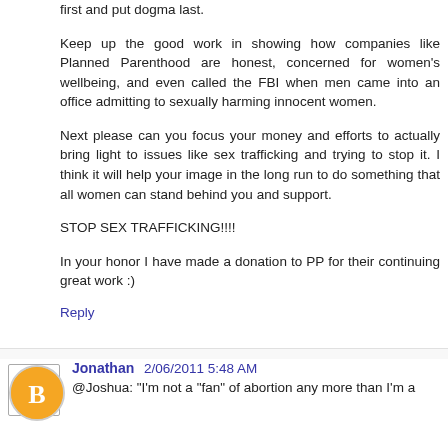first and put dogma last.
Keep up the good work in showing how companies like Planned Parenthood are honest, concerned for women's wellbeing, and even called the FBI when men came into an office admitting to sexually harming innocent women.
Next please can you focus your money and efforts to actually bring light to issues like sex trafficking and trying to stop it. I think it will help your image in the long run to do something that all women can stand behind you and support.
STOP SEX TRAFFICKING!!!!
In your honor I have made a donation to PP for their continuing great work :)
Reply
Jonathan  2/06/2011 5:48 AM
@Joshua: "I'm not a "fan" of abortion any more than I'm a